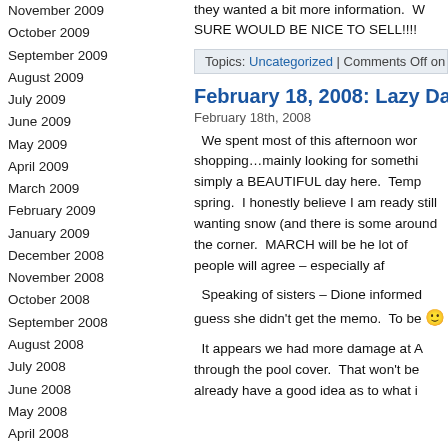November 2009
October 2009
September 2009
August 2009
July 2009
June 2009
May 2009
April 2009
March 2009
February 2009
January 2009
December 2008
November 2008
October 2008
September 2008
August 2008
July 2008
June 2008
May 2008
April 2008
March 2008
February 2008
January 2008
they wanted a bit more information.  W SURE WOULD BE NICE TO SELL!!!!
Topics: Uncategorized | Comments Off on Fe
February 18, 2008: Lazy Da
February 18th, 2008
We spent most of this afternoon wor shopping…mainly looking for somethi simply a BEAUTIFUL day here.  Temp spring.  I honestly believe I am ready still wanting snow (and there is some around the corner.  MARCH will be he lot of people will agree – especially af
Speaking of sisters – Dione informed guess she didn't get the memo.  To be 🙂
It appears we had more damage at A through the pool cover.  That won't be already have a good idea as to what i